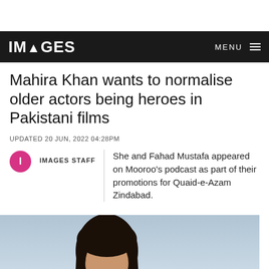IMAGES  MENU
Mahira Khan wants to normalise older actors being heroes in Pakistani films
UPDATED 20 JUN, 2022 04:28PM
IMAGES STAFF  She and Fahad Mustafa appeared on Mooroo's podcast as part of their promotions for Quaid-e-Azam Zindabad.
[Figure (photo): Photo of a woman with dark hair against a light blue sky background]